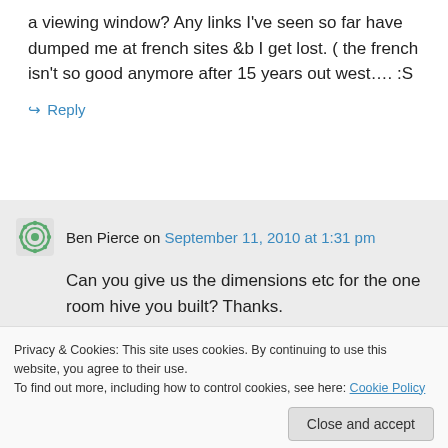a viewing window? Any links I've seen so far have dumped me at french sites &b I get lost. ( the french isn't so good anymore after 15 years out west…. :S
↪ Reply
Ben Pierce on September 11, 2010 at 1:31 pm
Can you give us the dimensions etc for the one room hive you built? Thanks.
Privacy & Cookies: This site uses cookies. By continuing to use this website, you agree to their use.
To find out more, including how to control cookies, see here: Cookie Policy
Close and accept
am